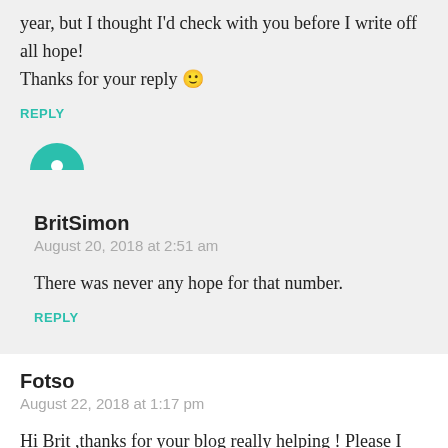year, but I thought I'd check with you before I write off all hope!
Thanks for your reply 🙂
REPLY
BritSimon
August 20, 2018 at 2:51 am
There was never any hope for that number.
REPLY
Fotso
August 22, 2018 at 1:17 pm
Hi Brit ,thanks for your blog really helping ! Please I
on my CN is 42027. I have juste seen
Translate »